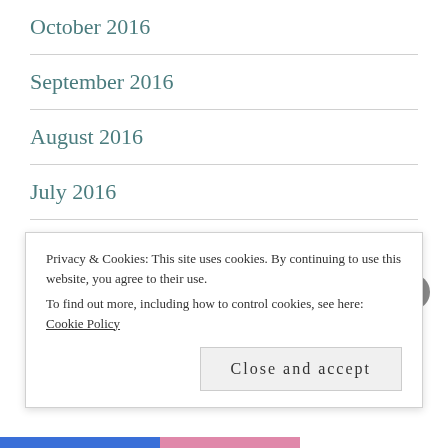October 2016
September 2016
August 2016
July 2016
June 2016
May 2016
April 2016 (partial)
Privacy & Cookies: This site uses cookies. By continuing to use this website, you agree to their use. To find out more, including how to control cookies, see here: Cookie Policy
Close and accept